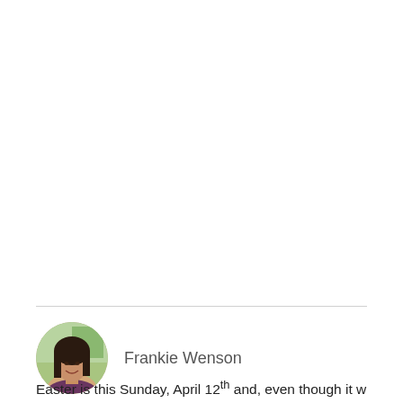[Figure (photo): Circular avatar photo of Frankie Wenson, a woman with dark hair, smiling, with a green/outdoor background]
Frankie Wenson
Easter is this Sunday, April 12th and, even though it will be